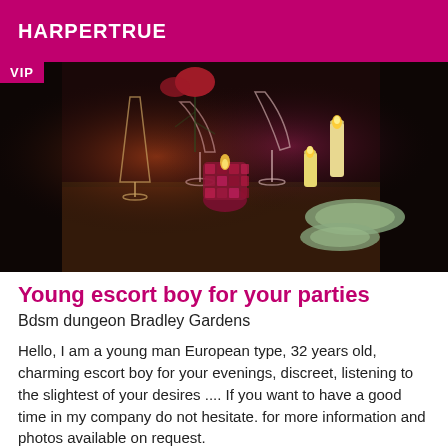HARPERTRUE
[Figure (photo): A candlelit dinner table scene with wine glasses, candles, and elegant table settings in warm amber and red tones. A VIP badge appears in the top-left corner of the image.]
Young escort boy for your parties
Bdsm dungeon Bradley Gardens
Hello, I am a young man European type, 32 years old, charming escort boy for your evenings, discreet, listening to the slightest of your desires .... If you want to have a good time in my company do not hesitate. for more information and photos available on request.